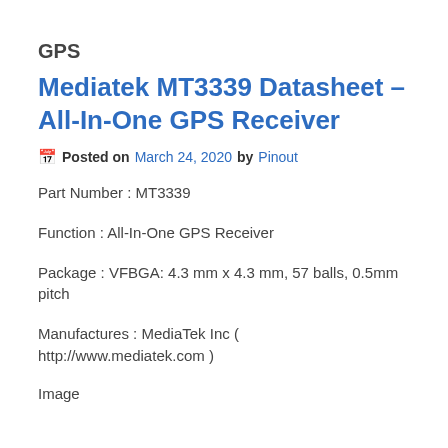GPS
Mediatek MT3339 Datasheet – All-In-One GPS Receiver
📅 Posted on March 24, 2020 by Pinout
Part Number : MT3339
Function : All-In-One GPS Receiver
Package : VFBGA: 4.3 mm x 4.3 mm, 57 balls, 0.5mm pitch
Manufactures : MediaTek Inc ( http://www.mediatek.com )
Image